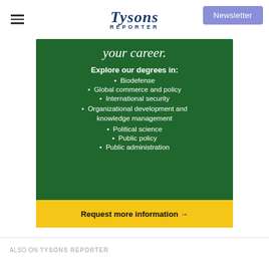Tysons Reporter | Newsletter
[Figure (infographic): Green advertisement banner for a university degree program. Top text: 'your career.' Bold heading: 'Explore our degrees in:' followed by bulleted list: Biodefense, Global commerce and policy, International security, Organizational development and knowledge management, Political science, Public policy, Public administration. Yellow bar at bottom: 'Request more information →']
ALSO ON TYSONS REPORTER